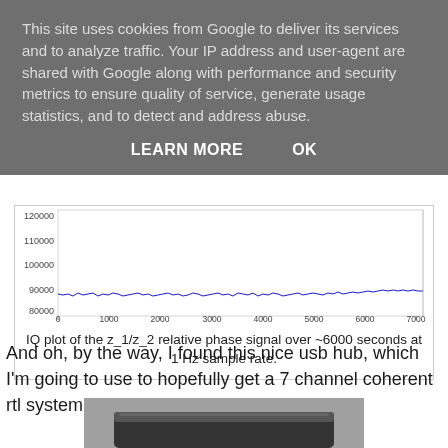This site uses cookies from Google to deliver its services and to analyze traffic. Your IP address and user-agent are shared with Google along with performance and security metrics to ensure quality of service, generate usage statistics, and to detect and address abuse.
LEARN MORE   OK
[Figure (continuous-plot): IQ plot of the z_1/z_2 relative phase signal over ~6000 seconds at 1 Hz sample rate. A nearly flat blue noisy line at approximately y=88000-90000, spanning x from 0 to 6000+.]
IQ plot of the z_1/z_2 relative phase signal over ~6000 seconds at 1 Hz sample rate.
And oh, by the way, I found this nice usb hub, which I'm going to use to hopefully get a 7 channel coherent rtl system.
[Figure (photo): Partial photo of a black USB hub device, dark colored, viewed from above/angle.]